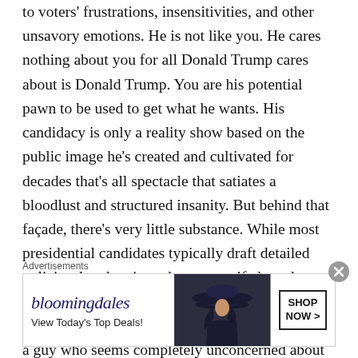to voters' frustrations, insensitivities, and other unsavory emotions. He is not like you. He cares nothing about you for all Donald Trump cares about is Donald Trump. You are his potential pawn to be used to get what he wants. His candidacy is only a reality show based on the public image he's created and cultivated for decades that's all spectacle that satiates a bloodlust and structured insanity. But behind that façade, there's very little substance. While most presidential candidates typically draft detailed policies that they intend to pursue if elected, Trump has released very few. All the things he said he'd do just sound like simplistic bullshit by a guy who seems completely unconcerned about the implications in order to accomplish
Advertisements
[Figure (other): Bloomingdale's advertisement banner showing logo, 'View Today's Top Deals!' text, a woman in a wide-brim hat, and a 'SHOP NOW >' button.]